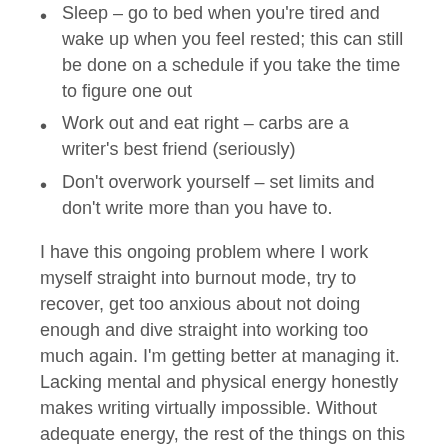Sleep – go to bed when you're tired and wake up when you feel rested; this can still be done on a schedule if you take the time to figure one out
Work out and eat right – carbs are a writer's best friend (seriously)
Don't overwork yourself – set limits and don't write more than you have to.
I have this ongoing problem where I work myself straight into burnout mode, try to recover, get too anxious about not doing enough and dive straight into working too much again. I'm getting better at managing it. Lacking mental and physical energy honestly makes writing virtually impossible. Without adequate energy, the rest of the things on this list become unachievable.
3. Discipline